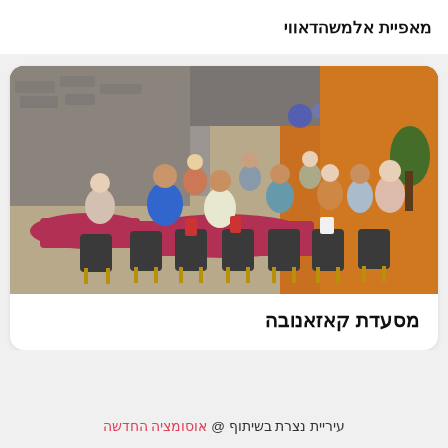מאפיית אלמשהדאווי
[Figure (photo): Indoor restaurant/gathering hall with many elderly people seated at round tables covered with pink tablecloths, yellow-and-black chairs, stone walls, orange accent wall in background]
מסעדת קאזאנובה
עיריית נצרת בשיתוף @ אוסומציה החדשה